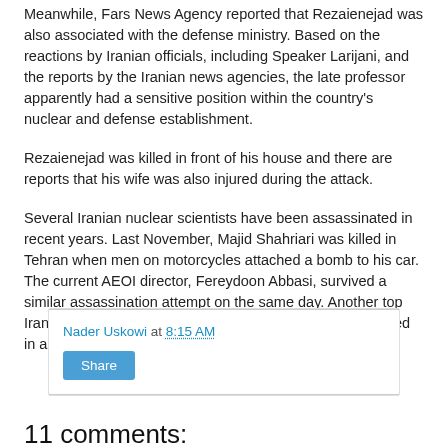Meanwhile, Fars News Agency reported that Rezaienejad was also associated with the defense ministry. Based on the reactions by Iranian officials, including Speaker Larijani, and the reports by the Iranian news agencies, the late professor apparently had a sensitive position within the country's nuclear and defense establishment.
Rezaienejad was killed in front of his house and there are reports that his wife was also injured during the attack.
Several Iranian nuclear scientists have been assassinated in recent years. Last November, Majid Shahriari was killed in Tehran when men on motorcycles attached a bomb to his car. The current AEOI director, Fereydoon Abbasi, survived a similar assassination attempt on the same day. Another top Iranian nuclear scientist, Masoud Ali Mohammadi, was killed in a bomb blast in January 2010.
Nader Uskowi at 8:15 AM
Share
11 comments: